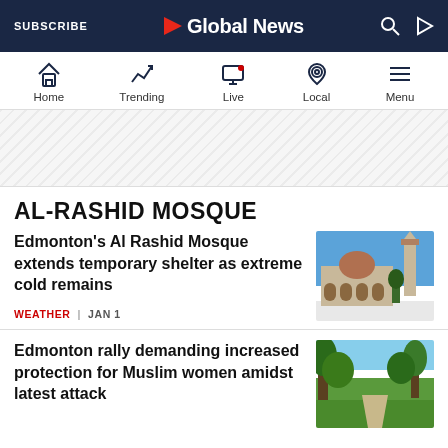SUBSCRIBE | Global News
[Figure (screenshot): Navigation bar with Home, Trending, Live, Local, Menu icons]
[Figure (other): Advertisement/promotional banner area with diagonal stripe pattern]
AL-RASHID MOSQUE
Edmonton's Al Rashid Mosque extends temporary shelter as extreme cold remains
WEATHER | JAN 1
[Figure (photo): Photo of Al Rashid Mosque exterior with minaret against blue sky]
Edmonton rally demanding increased protection for Muslim women amidst latest attack
[Figure (photo): Photo of a park with a pathway surrounded by green trees]